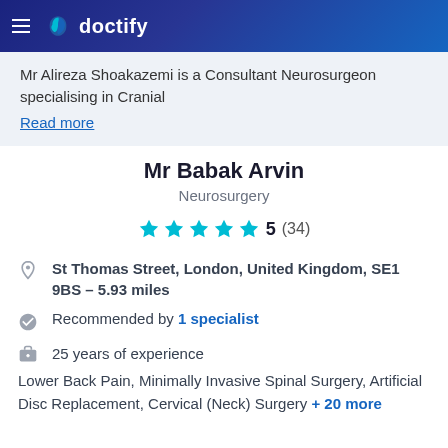doctify
Mr Alireza Shoakazemi is a Consultant Neurosurgeon specialising in Cranial Read more
Mr Babak Arvin
Neurosurgery
5 (34)
St Thomas Street, London, United Kingdom, SE1 9BS – 5.93 miles
Recommended by 1 specialist
25 years of experience
Lower Back Pain, Minimally Invasive Spinal Surgery, Artificial Disc Replacement, Cervical (Neck) Surgery + 20 more